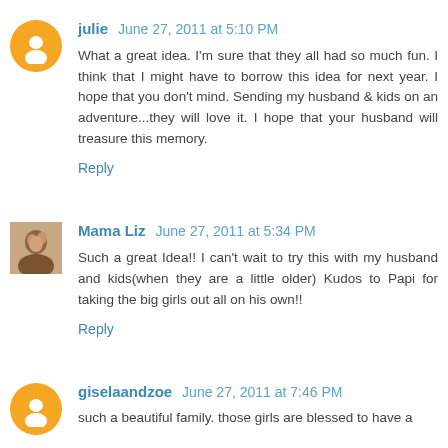julie  June 27, 2011 at 5:10 PM
What a great idea. I'm sure that they all had so much fun. I think that I might have to borrow this idea for next year. I hope that you don't mind. Sending my husband & kids on an adventure...they will love it. I hope that your husband will treasure this memory.
Reply
Mama Liz  June 27, 2011 at 5:34 PM
Such a great Idea!! I can't wait to try this with my husband and kids(when they are a little older) Kudos to Papi for taking the big girls out all on his own!!
Reply
giselaandzoe  June 27, 2011 at 7:46 PM
such a beautiful family. those girls are blessed to have a